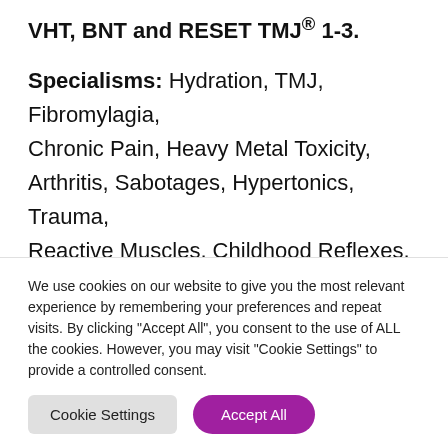VHT, BNT and RESET TMJ® 1-3.
Specialisms: Hydration, TMJ, Fibromylagia, Chronic Pain, Heavy Metal Toxicity, Arthritis, Sabotages, Hypertonics, Trauma, Reactive Muscles, Childhood Reflexes, Animal Surrogacy
Learn more about Germaine Byrne
We use cookies on our website to give you the most relevant experience by remembering your preferences and repeat visits. By clicking "Accept All", you consent to the use of ALL the cookies. However, you may visit "Cookie Settings" to provide a controlled consent.
Cookie Settings
Accept All